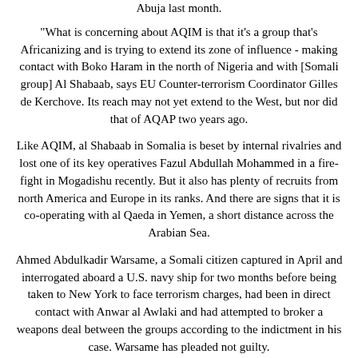Abuja last month.
"What is concerning about AQIM is that it's a group that's Africanizing and is trying to extend its zone of influence - making contact with Boko Haram in the north of Nigeria and with [Somali group] Al Shabaab, says EU Counter-terrorism Coordinator Gilles de Kerchove. Its reach may not yet extend to the West, but nor did that of AQAP two years ago.
Like AQIM, al Shabaab in Somalia is beset by internal rivalries and lost one of its key operatives Fazul Abdullah Mohammed in a fire-fight in Mogadishu recently. But it also has plenty of recruits from north America and Europe in its ranks. And there are signs that it is co-operating with al Qaeda in Yemen, a short distance across the Arabian Sea.
Ahmed Abdulkadir Warsame, a Somali citizen captured in April and interrogated aboard a U.S. navy ship for two months before being taken to New York to face terrorism charges, had been in direct contact with Anwar al Awlaki and had attempted to broker a weapons deal between the groups according to the indictment in his case. Warsame has pleaded not guilty.
In Iraq, the U.S. strategy to turn Sunni tribal sheikhs against al Qaeda vastly degraded the group, but under the title Islamic State of Iraq (ISI) it is still able to launch co-ordinated bombing attacks,